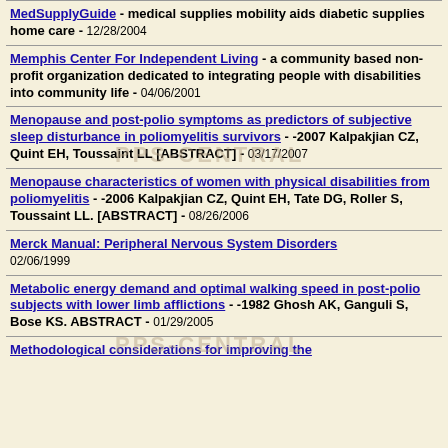MedSupplyGuide - medical supplies mobility aids diabetic supplies home care - 12/28/2004
Memphis Center For Independent Living - a community based non-profit organization dedicated to integrating people with disabilities into community life - 04/06/2001
Menopause and post-polio symptoms as predictors of subjective sleep disturbance in poliomyelitis survivors - -2007 Kalpakjian CZ, Quint EH, Toussaint LL [ABSTRACT] - 03/17/2007
Menopause characteristics of women with physical disabilities from poliomyelitis - -2006 Kalpakjian CZ, Quint EH, Tate DG, Roller S, Toussaint LL. [ABSTRACT] - 08/26/2006
Merck Manual: Peripheral Nervous System Disorders 02/06/1999
Metabolic energy demand and optimal walking speed in post-polio subjects with lower limb afflictions - -1982 Ghosh AK, Ganguli S, Bose KS. ABSTRACT - 01/29/2005
Methodological considerations for improving the